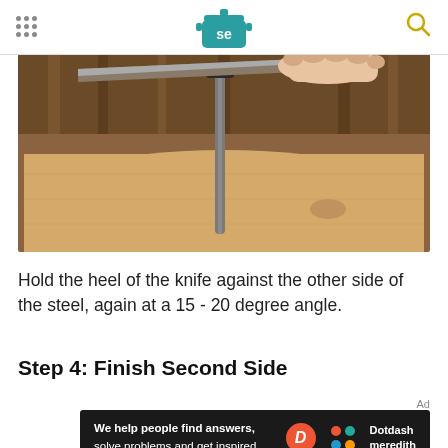Serious Eats logo header with menu and search
[Figure (photo): A hand holding the heel of a knife against a vertical honing steel at an angle above a wooden cutting board, with a wooden background.]
Hold the heel of the knife against the other side of the steel, again at a 15 - 20 degree angle.
Step 4: Finish Second Side
[Figure (other): Advertisement banner: 'We help people find answers, solve problems and get inspired.' with Dotdash Meredith logo.]